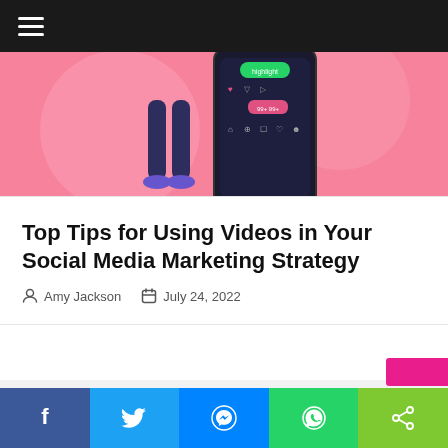[Figure (illustration): Pink background illustration of a person standing next to a large smartphone showing a social media app UI with notification elements. Text 'highlight' visible on screen.]
Top Tips for Using Videos in Your Social Media Marketing Strategy
Amy Jackson  |  July 24, 2022
[Figure (other): Gray advertisement/content placeholder area]
[Figure (infographic): Social share bar with Facebook, Twitter, Messenger, WhatsApp, and generic share buttons]